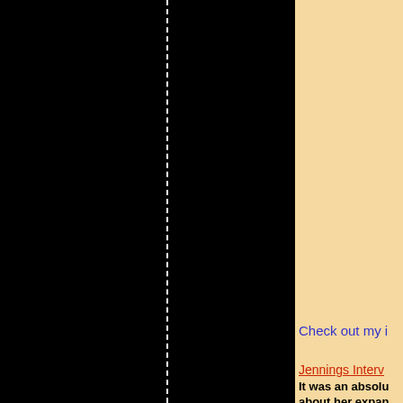[Figure (photo): Large black area covering the left two-thirds of the page with a vertical white dashed line running through it.]
Check out my i
Jennings Interv
It was an absolu about her expan